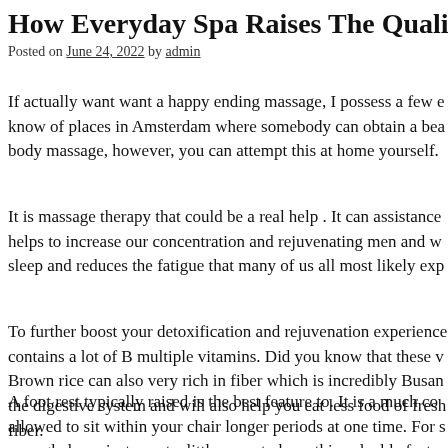How Everyday Spa Raises The Quality Of
Posted on June 24, 2022 by admin
If actually want want a happy ending massage, I possess a few know of places in Amsterdam where somebody can obtain a bea body massage, however, you can attempt this at home yourself.
It is massage therapy that could be a real help . It can assistance helps to increase our concentration and rejuvenating men and w sleep and reduces the fatigue that many of us all most likely exp
To further boost your detoxification and rejuvenation experience contains a lot of B multiple vitamins. Did you know that these v Brown rice can also very rich in fiber which is incredibly Busan the digestive system and will also help you eat less food of fresh fiber.
A foot rest typically raised is the best feature to. It is a much co allowed to sit within your chair longer periods at one time. For s very glad you just spent a little more to have this valuable featu